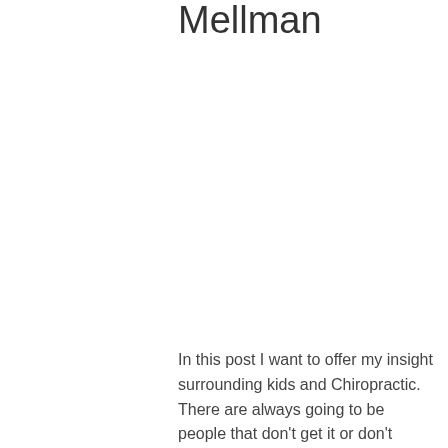Mellman
In this post I want to offer my insight surrounding kids and Chiropractic. There are always going to be people that don't get it or don't understand almost most of the time how from and